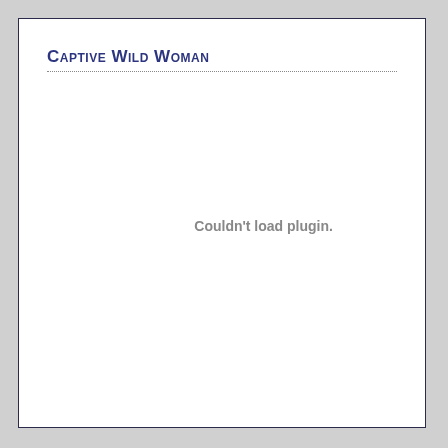Captive Wild Woman
[Figure (other): Plugin content area that failed to load, showing message: Couldn't load plugin.]